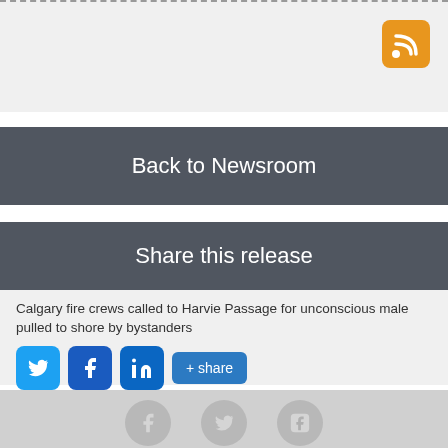[Figure (other): RSS feed orange icon button in top right of gray section with dashed top border]
Back to Newsroom
Share this release
Calgary fire crews called to Harvie Passage for unconscious male pulled to shore by bystanders
[Figure (other): Social share buttons: Twitter (blue bird), Facebook (blue f), LinkedIn (blue in), and +share button]
Media inquiries
[Figure (other): Footer with gray social media icons: Facebook, Twitter, YouTube]